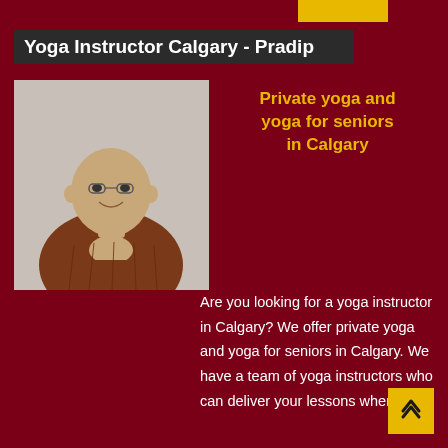Yoga Instructor Calgary - Pradip
[Figure (photo): A man in a brown traditional outfit with hands clasped in a namaste/prayer gesture, bald, wearing glasses, smiling, against a light grey background.]
Private yoga and yoga for seniors in Calgary
Are you looking for a yoga instructor in Calgary? We offer private yoga and yoga for seniors in Calgary. We have a team of yoga instructors who can deliver your lessons where and